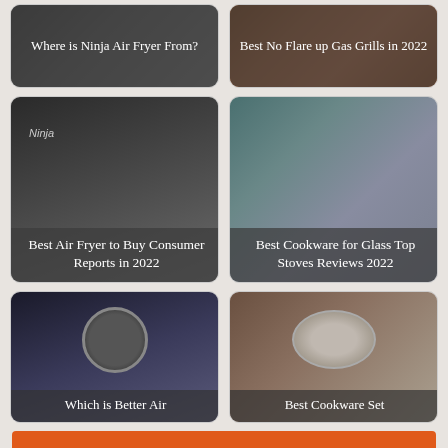[Figure (illustration): Card: Where is Ninja Air Fryer From? - gray background with text overlay]
[Figure (illustration): Card: Best No Flare up Gas Grills in 2022 - food/grill image with text overlay]
[Figure (illustration): Card: Best Air Fryer to Buy Consumer Reports in 2022 - Ninja air fryer image with text overlay]
[Figure (illustration): Card: Best Cookware for Glass Top Stoves Reviews 2022 - kitchen image with text overlay]
[Figure (illustration): Card: Which is Better Air - dark background with circular device image]
[Figure (illustration): Card: Best Cookware Set - cookware on wooden surface]
[Figure (illustration): Ad banner: Help send medical aid to Ukraine >> Direct Relief]